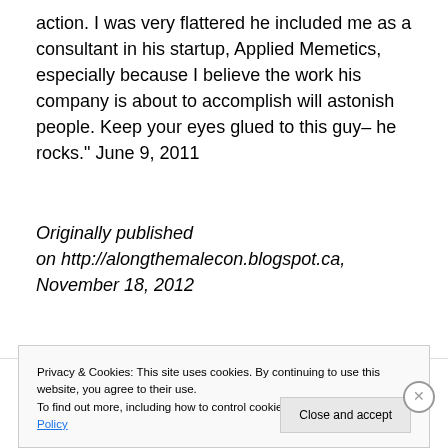action. I was very flattered he included me as a consultant in his startup, Applied Memetics, especially because I believe the work his company is about to accomplish will astonish people. Keep your eyes glued to this guy– he rocks." June 9, 2011
Originally published on http://alongthemalecon.blogspot.ca, November 18, 2012
[Figure (other): Advertisement banner: 'How to start selling subscriptions online' with a cyan/blue diamond shape graphic on the right]
Privacy & Cookies: This site uses cookies. By continuing to use this website, you agree to their use.
To find out more, including how to control cookies, see here: Cookie Policy